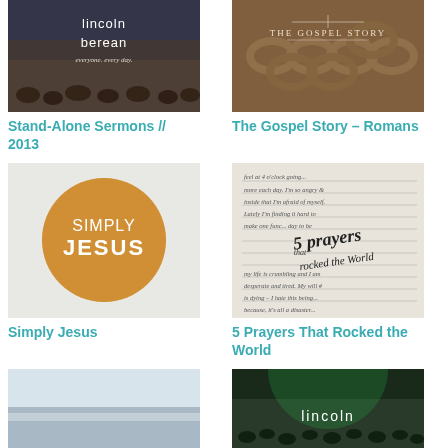[Figure (photo): Lincoln Berean church logo over crowd photo with text 'lincoln berean everyone. every day.']
Stand-Alone Sermons // 2013
[Figure (photo): The Gospel Story - Romans: chains image with decorative text 'THE GOSPEL STORY']
The Gospel Story – Romans
[Figure (photo): Simply Jesus: golden circle with white bold text 'SIMPLY JESUS' on light background]
Simply Jesus
[Figure (photo): 5 Prayers That Rocked the World: handwritten journal text background with script overlay '5 prayers that rocked the World']
5 Prayers That Rocked the World
[Figure (photo): Misty sky/horizon landscape photo]
[Figure (photo): Lincoln Berean church crowd photo with green lighting and 'lincoln' text overlay]